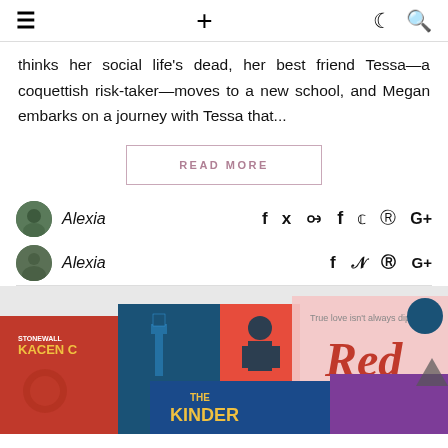☰ + ☾ 🔍
thinks her social life's dead, her best friend Tessa—a coquettish risk-taker—moves to a new school, and Megan embarks on a journey with Tessa that...
READ MORE
Alexia
[Figure (photo): Photo of several book covers laid out on a surface, including books titled 'THE KINDER', 'RED', and one by Kacen C, with various colorful covers in red, blue, pink, and purple.]